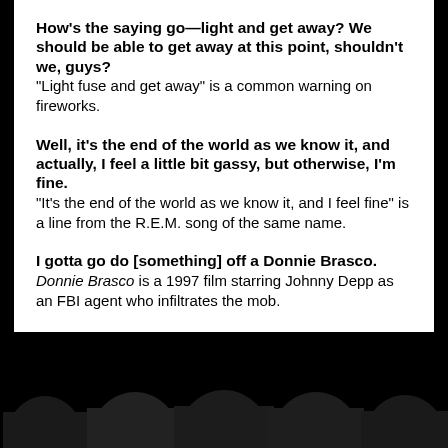How's the saying go—light and get away? We should be able to get away at this point, shouldn't we, guys? "Light fuse and get away" is a common warning on fireworks.
Well, it's the end of the world as we know it, and actually, I feel a little bit gassy, but otherwise, I'm fine. "It's the end of the world as we know it, and I feel fine" is a line from the R.E.M. song of the same name.
I gotta go do [something] off a Donnie Brasco. Donnie Brasco is a 1997 film starring Johnny Depp as an FBI agent who infiltrates the mob.
[Figure (illustration): Black silhouettes of five rounded head shapes (audience members viewed from behind) against a black background at the bottom of the page.]